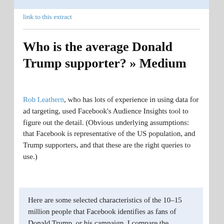link to this extract
Who is the average Donald Trump supporter? » Medium
Rob Leathern, who has lots of experience in using data for ad targeting, used Facebook's Audience Insights tool to figure out the detail. (Obvious underlying assumptions: that Facebook is representative of the US population, and Trump supporters, and that these are the right queries to use.)
Here are some selected characteristics of the 10–15 million people that Facebook identifies as fans of Donald Trump, or his campaign. I compare the incidence of each row with the